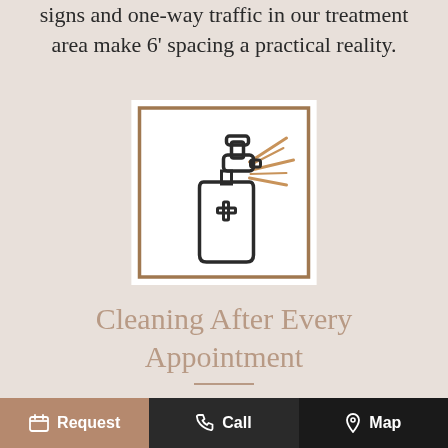signs and one-way traffic in our treatment area make 6' spacing a practical reality.
[Figure (illustration): Spray bottle icon with a medical cross symbol and spray mist lines, inside a square white box with a brown border]
Cleaning After Every Appointment
We are super clean as we thoroughly wipe, sanitize, and disinfect all instruments, equipment and surfaces in each operatory,
Request   Call   Map